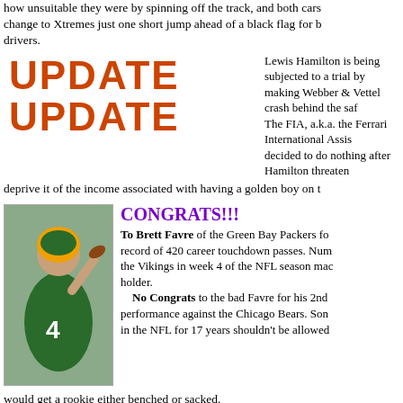how unsuitable they were by spinning off the track, and both cars change to Xtremes just one short jump ahead of a black flag for both drivers.
[Figure (illustration): UPDATE graphic in orange/brown bold text, repeated twice]
Lewis Hamilton is being subjected to a trial by... making Webber & Vettel crash behind the saf... The FIA, a.k.a. the Ferrari International Assist... decided to do nothing after Hamilton threaten... deprive it of the income associated with having a golden boy on t...
[Figure (photo): Brett Favre in Green Bay Packers uniform #4 throwing a football]
CONGRATS!!!
To Brett Favre of the Green Bay Packers for record of 420 career touchdown passes. Num the Vikings in week 4 of the NFL season mad holder. No Congrats to the bad Favre for his 2nd performance against the Chicago Bears. Som in the NFL for 17 years shouldn't be allowed would get a rookie either benched or sacked.
[Figure (illustration): Small decorative graphic showing a raised middle finger]
No Congrats
to the Formula One scriptwriters. Making Lewis Hamil pits in China because he'd been left out too long on deca Raikkonen and Alonso a chance of winning the title in Brazil was
[Figure (illustration): Small decorative graphic showing a raised middle finger]
Hard Cheese all round!
Not a good month for the sporting Englishman. The footb of the World Cup, the rugby team finished 2nd in their W McLaren car left Lewis Hamilton runner up in the F1 drivers cha